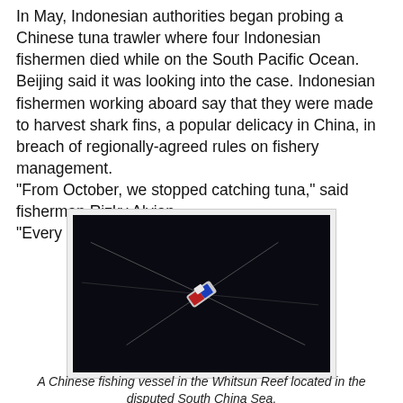In May, Indonesian authorities began probing a Chinese tuna trawler where four Indonesian fishermen died while on the South Pacific Ocean.
Beijing said it was looking into the case. Indonesian fishermen working aboard say that they were made to harvest shark fins, a popular delicacy in China, in breach of regionally-agreed rules on fishery management.
"From October, we stopped catching tuna," said fisherman Rizky Alvian.
"Every day, we catch shark. Just shark."
[Figure (photo): Aerial photograph of a Chinese fishing vessel with outrigger lines visible against dark ocean water at Whitsun Reef in the South China Sea.]
A Chinese fishing vessel in the Whitsun Reef located in the disputed South China Sea.